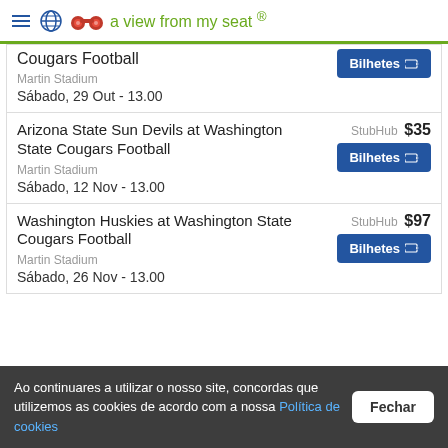a view from my seat ®
Cougars Football — Martin Stadium — Sábado, 29 Out - 13.00
Arizona State Sun Devils at Washington State Cougars Football — Martin Stadium — Sábado, 12 Nov - 13.00 — StubHub $35
Washington Huskies at Washington State Cougars Football — Martin Stadium — Sábado, 26 Nov - 13.00 — StubHub $97
Ao continuares a utilizar o nosso site, concordas que utilizemos as cookies de acordo com a nossa Política de cookies  Fechar